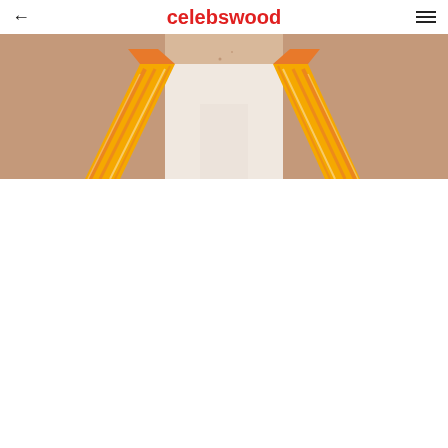celebswood
[Figure (photo): Close-up photo of a person wearing a white/cream outfit with yellow and orange patterned straps or collar detail, cropped to show neck/shoulder/chest area against a light background]